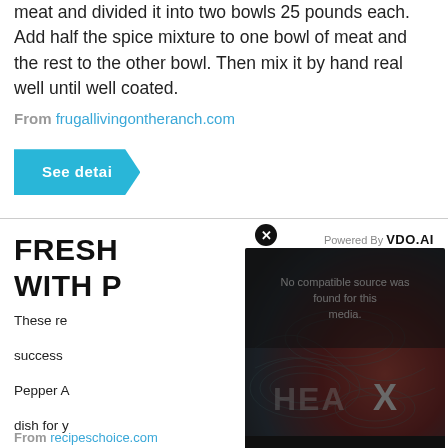meat and divided it into two bowls 25 pounds each. Add half the spice mixture to one bowl of meat and the rest to the other bowl. Then mix it by hand real well until well coated.
From frugallivingontheranch.com
See detai
FRESH ... WITH P...
[Figure (screenshot): Video overlay showing 'No compatible source was found for this media.' with HEA X branding and VDO.AI powered by text]
These re... success... Pepper A... dish for y... Vegetari... Indian V... Vegetari... Potato S...
From recipeschoice.com